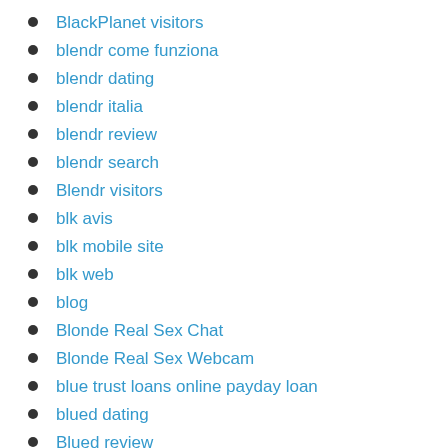BlackPlanet visitors
blendr come funziona
blendr dating
blendr italia
blendr review
blendr search
Blendr visitors
blk avis
blk mobile site
blk web
blog
Blonde Real Sex Chat
Blonde Real Sex Webcam
blue trust loans online payday loan
blued dating
Blued review